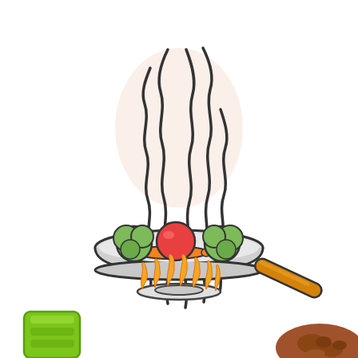[Figure (illustration): Cartoon illustration of a frying pan with vegetables (broccoli, tomato, carrot) on a gas stove burner with orange flames, steam/smoke rising above the pan shown as wavy lines against a light pink cloud shape background. In the bottom-left corner, a green kitchen tool (silicone spatula or tongs) is partially visible, and in the bottom-right corner, brown ground spice or food is partially visible.]